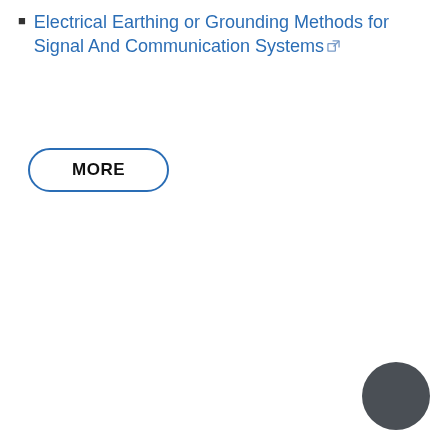Electrical Earthing or Grounding Methods for Signal And Communication Systems
MORE